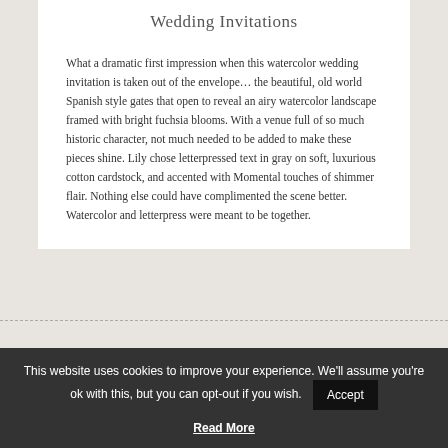Wedding Invitations
What a dramatic first impression when this watercolor wedding invitation is taken out of the envelope... the beautiful, old world Spanish style gates that open to reveal an airy watercolor landscape framed with bright fuchsia blooms. With a venue full of so much historic character, not much needed to be added to make these pieces shine. Lily chose letterpressed text in gray on soft, luxurious cotton cardstock, and accented with Momental touches of shimmer flair. Nothing else could have complimented the scene better. Watercolor and letterpress were meant to be together.
This website uses cookies to improve your experience. We'll assume you're ok with this, but you can opt-out if you wish.
Accept
Read More